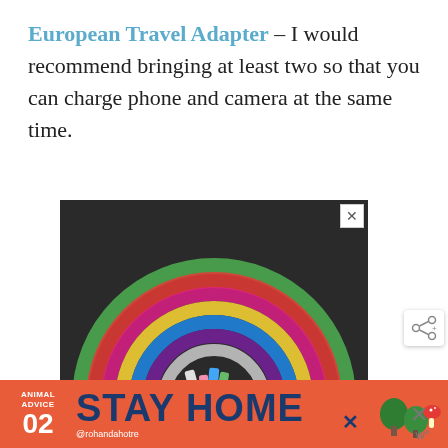European Travel Adapter – I would recommend bringing at least two so that you can charge phone and camera at the same time.
[Figure (photo): Photo of a chalk rainbow drawn on dark asphalt/pavement with chalk sticks visible at the base. Multiple rainbow arcs in green, red/pink, yellow, blue, purple, and white. Partially overlaid by the text #ViralKindness at the bottom.]
[Figure (infographic): Orange banner advertisement reading 'ANIMAL ADVICE 02 STAY HOME @rohandahotre' with illustrations of mushrooms and trees on the right side.]